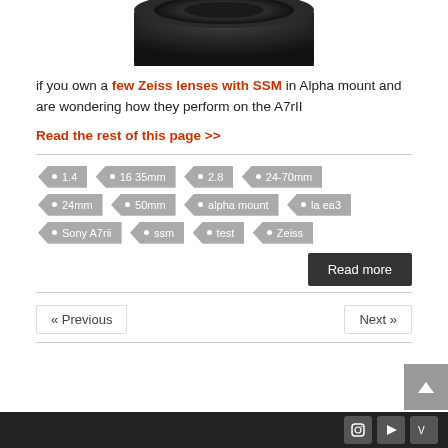[Figure (photo): Bottom portion of a black camera lens on white background]
if you own a few Zeiss lenses with SSM in Alpha mount and are wondering how they perform on the A7rII
Read the rest of this page >>
1.4
16 35mm
2.8
24-70mm
24mm
50mm
alpha mount
la ea3
Sony A7rii
ssm
test
Zeiss
Read more
« Previous
Next »